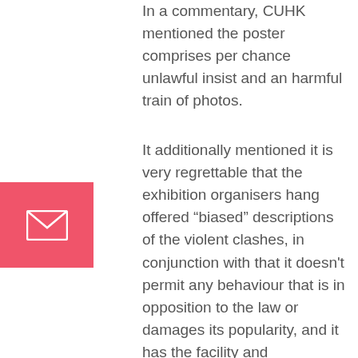In a commentary, CUHK mentioned the poster comprises per chance unlawful insist and an harmful train of photos.
[Figure (other): Red/pink square button with white envelope/mail icon]
It additionally mentioned it is very regrettable that the exhibition organisers hang offered “biased” descriptions of the violent clashes, in conjunction with that it doesn't permit any behaviour that is in opposition to the law or damages its popularity, and it has the facility and responsibility to ban any activities that are in opposition to the foundations.
On the opposite hand, the university’s Campus Radio quoted a pupil chief as asserting they would not withdraw the promotional topic cloth.
“Conclude we’ve got got to blur the graffiti